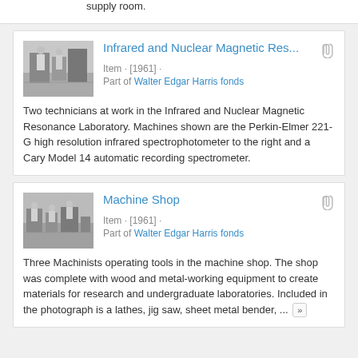supply room.
Infrared and Nuclear Magnetic Res...
Item · [1961] ·
Part of Walter Edgar Harris fonds
[Figure (photo): Black and white photograph of two technicians at work in the Infrared and Nuclear Magnetic Resonance Laboratory]
Two technicians at work in the Infrared and Nuclear Magnetic Resonance Laboratory. Machines shown are the Perkin-Elmer 221-G high resolution infrared spectrophotometer to the right and a Cary Model 14 automatic recording spectrometer.
Machine Shop
Item · [1961] ·
Part of Walter Edgar Harris fonds
[Figure (photo): Black and white photograph of three machinists operating tools in the machine shop]
Three Machinists operating tools in the machine shop. The shop was complete with wood and metal-working equipment to create materials for research and undergraduate laboratories. Included in the photograph is a lathes, jig saw, sheet metal bender, ...